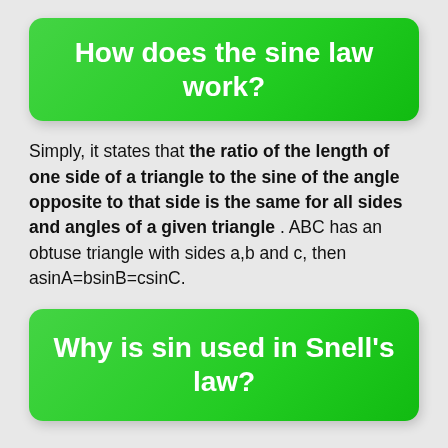How does the sine law work?
Simply, it states that the ratio of the length of one side of a triangle to the sine of the angle opposite to that side is the same for all sides and angles of a given triangle . ABC has an obtuse triangle with sides a,b and c, then asinA=bsinB=csinC.
Why is sin used in Snell's law?